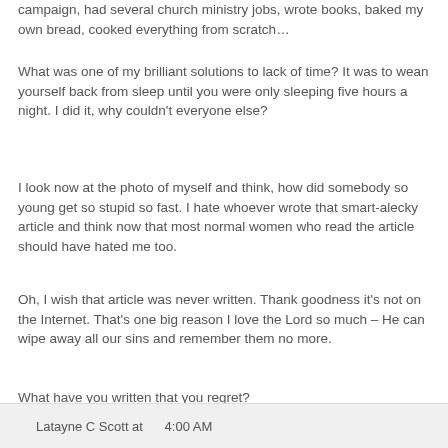campaign, had several church ministry jobs, wrote books, baked my own bread, cooked everything from scratch…
What was one of my brilliant solutions to lack of time? It was to wean yourself back from sleep until you were only sleeping five hours a night. I did it, why couldn't everyone else?
I look now at the photo of myself and think, how did somebody so young get so stupid so fast. I hate whoever wrote that smart-alecky article and think now that most normal women who read the article should have hated me too.
Oh, I wish that article was never written. Thank goodness it's not on the Internet. That's one big reason I love the Lord so much – He can wipe away all our sins and remember them no more.
What have you written that you regret?
Latayne C Scott at 4:00 AM